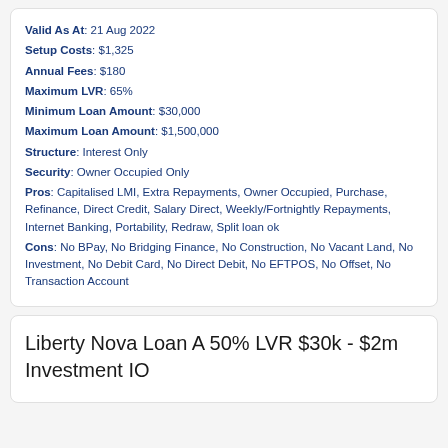Valid As At: 21 Aug 2022
Setup Costs: $1,325
Annual Fees: $180
Maximum LVR: 65%
Minimum Loan Amount: $30,000
Maximum Loan Amount: $1,500,000
Structure: Interest Only
Security: Owner Occupied Only
Pros: Capitalised LMI, Extra Repayments, Owner Occupied, Purchase, Refinance, Direct Credit, Salary Direct, Weekly/Fortnightly Repayments, Internet Banking, Portability, Redraw, Split loan ok
Cons: No BPay, No Bridging Finance, No Construction, No Vacant Land, No Investment, No Debit Card, No Direct Debit, No EFTPOS, No Offset, No Transaction Account
Liberty Nova Loan A 50% LVR $30k - $2m Investment IO